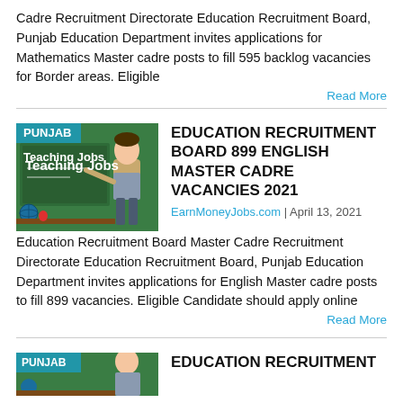Cadre Recruitment Directorate Education Recruitment Board, Punjab Education Department invites applications for Mathematics Master cadre posts to fill 595 backlog vacancies for Border areas. Eligible
Read More
[Figure (illustration): Teaching Jobs illustration with PUNJAB badge, green chalkboard background, teacher figure pointing at board, Teaching Jobs text]
EDUCATION RECRUITMENT BOARD 899 ENGLISH MASTER CADRE VACANCIES 2021
EarnMoneyJobs.com  |  April 13, 2021
Education Recruitment Board Master Cadre Recruitment Directorate Education Recruitment Board, Punjab Education Department invites applications for English Master cadre posts to fill 899 vacancies. Eligible Candidate should apply online
Read More
[Figure (illustration): Teaching Jobs illustration with PUNJAB badge, partial view at bottom of page]
EDUCATION RECRUITMENT